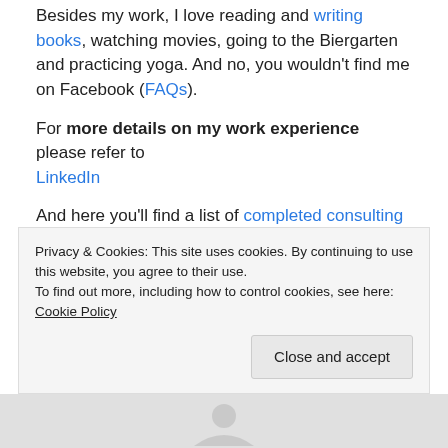Besides my work, I love reading and writing books, watching movies, going to the Biergarten and practicing yoga. And no, you wouldn't find me on Facebook (FAQs).
For more details on my work experience please refer to LinkedIn
And here you'll find a list of completed consulting projects.
Loading...
Privacy & Cookies: This site uses cookies. By continuing to use this website, you agree to their use. To find out more, including how to control cookies, see here: Cookie Policy
[Figure (photo): Bottom partial image showing a person silhouette or photo, partially visible at the bottom of the page]